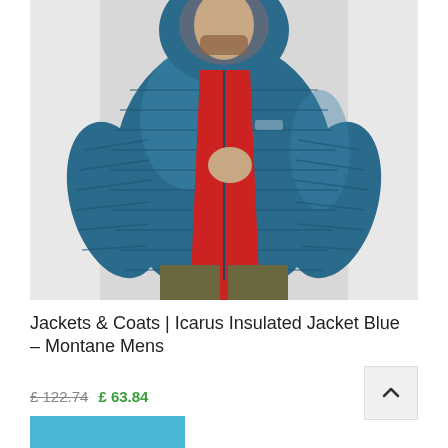[Figure (photo): A man wearing an open teal/blue quilted puffer jacket with a hood, over a red t-shirt and olive/khaki trousers, photographed against a light grey background. The jacket is the Montane Icarus Insulated Jacket in blue.]
Jackets & Coats | Icarus Insulated Jacket Blue – Montane Mens
£ 122.74  £ 63.84